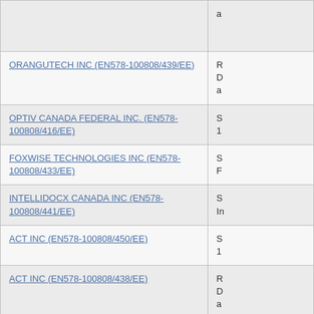| Supplier | Description |
| --- | --- |
|  | a |
| ORANGUTECH INC (EN578-100808/439/EE) | R D a |
| OPTIV CANADA FEDERAL INC. (EN578-100808/416/EE) | S 1 |
| FOXWISE TECHNOLOGIES INC (EN578-100808/433/EE) | S F |
| INTELLIDOCX CANADA INC (EN578-100808/441/EE) | S In |
| ACT INC (EN578-100808/450/EE) | S 1 |
| ACT INC (EN578-100808/438/EE) | R D a |
| ACT INC (EN578-100808/460/EE) | A P S |
| INSA CORP (EN578-100808/458/EE) |  |